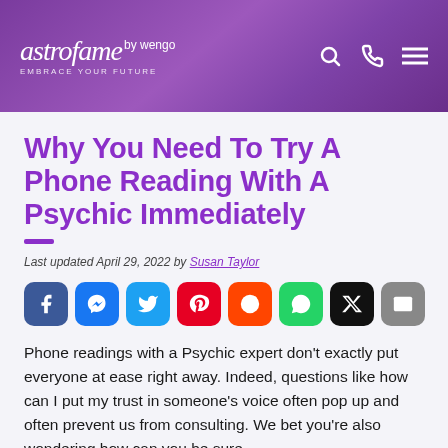astrofame by wengo - EMBRACE YOUR FUTURE
Why You Need To Try A Phone Reading With A Psychic Immediately
Last updated April 29, 2022 by Susan Taylor
[Figure (other): Social media share buttons row: Facebook, Facebook Messenger, Twitter, Pinterest, Reddit, WhatsApp, X/Black, Email]
Phone readings with a Psychic expert don't exactly put everyone at ease right away. Indeed, questions like how can I put my trust in someone's voice often pop up and often prevent us from consulting. We bet you're also wondering how can you be sure